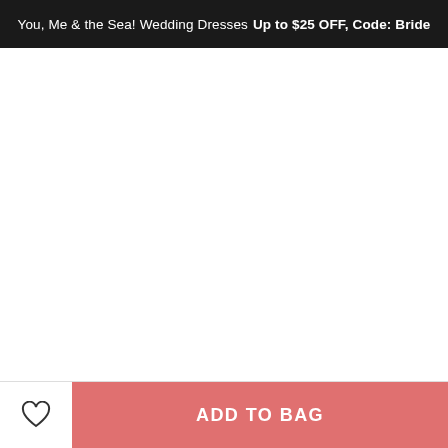You, Me & the Sea! Wedding Dresses Up to $25 OFF, Code: Bride
[Figure (photo): White wedding dress product image (blank/loading area), with image counter badge showing 1/5 and navigation arrows on right side]
1/5
US$74.19  US$185.39  -60%
× Get $5 off for your first order!  CLAIM NOW
ADD TO BAG